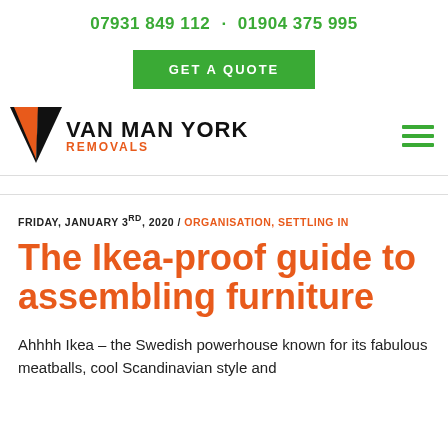07931 849 112 · 01904 375 995
GET A QUOTE
[Figure (logo): Van Man York Removals logo with orange/black V chevron and text]
FRIDAY, JANUARY 3RD, 2020 / ORGANISATION, SETTLING IN
The Ikea-proof guide to assembling furniture
Ahhhh Ikea – the Swedish powerhouse known for its fabulous meatballs, cool Scandinavian style and